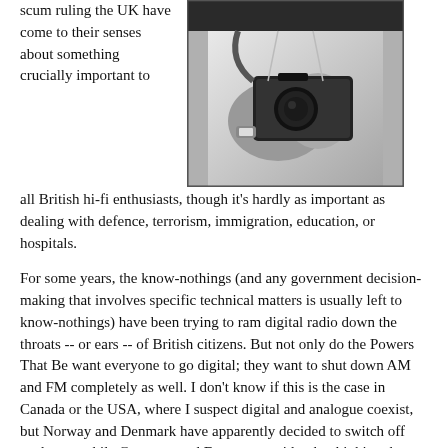scum ruling the UK have come to their senses about something crucially important to all British hi-fi enthusiasts, though it's hardly as important as dealing with defence, terrorism, immigration, education, or hospitals.
[Figure (photo): Black and white photograph of a person holding a camera up to their face, wearing a white shirt and watch]
For some years, the know-nothings (and any government decision-making that involves specific technical matters is usually left to know-nothings) have been trying to ram digital radio down the throats -- or ears -- of British citizens. But not only do the Powers That Be want everyone to go digital; they want to shut down AM and FM completely as well. I don't know if this is the case in Canada or the USA, where I suspect digital and analogue coexist, but Norway and Denmark have apparently decided to switch off analogue, while Germany and France are said to be thinking the same.
In December the British Government decided not to turn off FM and AM in 2015, as was originally planned. Instead, it has been